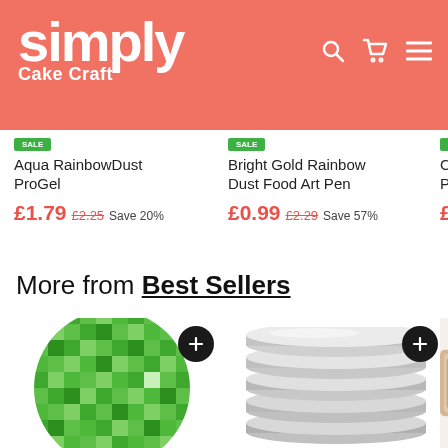[Figure (logo): Simply Cake Craft logo — white text on coral/salmon red banner with search, cart, and hamburger menu icons]
Aqua RainbowDust ProGel
£1.79  £2.25  Save 20%
Bright Gold Rainbow Dust Food Art Pen
£0.99  £2.29  Save 57%
Cream ProGel
£1.79
More from Best Sellers
[Figure (photo): Green pixel/minecraft style circle pattern edible cake disc]
[Figure (photo): Stack of silver round cake boards/drums]
[Figure (photo): Partial view of another product (tan/cream coloured item)]